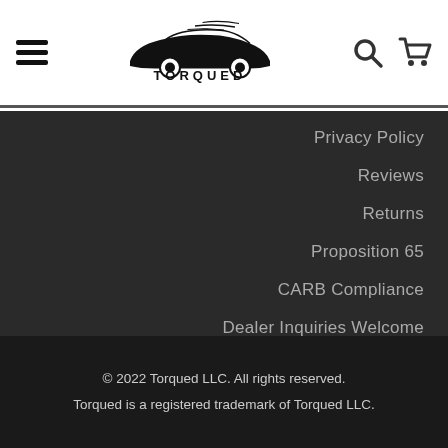TORQUED
Privacy Policy
Reviews
Returns
Proposition 65
CARB Compliance
Dealer Inquiries Welcome
Dealer login
© 2022 Torqued LLC. All rights reserved.
Torqued is a registered trademark of Torqued LLC.